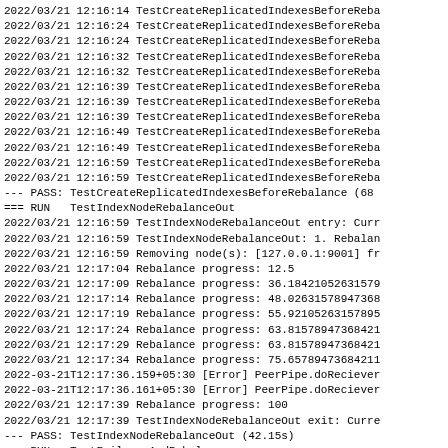2022/03/21 12:16:14 TestCreateReplicatedIndexesBeforeReba
2022/03/21 12:16:24 TestCreateReplicatedIndexesBeforeReba
2022/03/21 12:16:24 TestCreateReplicatedIndexesBeforeReba
2022/03/21 12:16:32 TestCreateReplicatedIndexesBeforeReba
2022/03/21 12:16:32 TestCreateReplicatedIndexesBeforeReba
2022/03/21 12:16:39 TestCreateReplicatedIndexesBeforeReba
2022/03/21 12:16:39 TestCreateReplicatedIndexesBeforeReba
2022/03/21 12:16:39 TestCreateReplicatedIndexesBeforeReba
2022/03/21 12:16:49 TestCreateReplicatedIndexesBeforeReba
2022/03/21 12:16:49 TestCreateReplicatedIndexesBeforeReba
2022/03/21 12:16:59 TestCreateReplicatedIndexesBeforeReba
2022/03/21 12:16:59 TestCreateReplicatedIndexesBeforeReba
--- PASS: TestCreateReplicatedIndexesBeforeRebalance (68
=== RUN   TestIndexNodeRebalanceOut
2022/03/21 12:16:59 TestIndexNodeRebalanceOut entry: Curr
2022/03/21 12:16:59 TestIndexNodeRebalanceOut: 1. Rebalan
2022/03/21 12:16:59 Removing node(s): [127.0.0.1:9001] fr
2022/03/21 12:17:04 Rebalance progress: 12.5
2022/03/21 12:17:09 Rebalance progress: 36.1842105263157
2022/03/21 12:17:14 Rebalance progress: 48.0263157894736
2022/03/21 12:17:19 Rebalance progress: 55.9210526315789
2022/03/21 12:17:24 Rebalance progress: 63.8157894736842
2022/03/21 12:17:29 Rebalance progress: 63.8157894736842
2022/03/21 12:17:34 Rebalance progress: 75.6578947368421
2022-03-21T12:17:36.159+05:30 [Error] PeerPipe.doReciever
2022-03-21T12:17:36.161+05:30 [Error] PeerPipe.doReciever
2022/03/21 12:17:39 Rebalance progress: 100
2022/03/21 12:17:39 TestIndexNodeRebalanceOut exit: Curre
--- PASS: TestIndexNodeRebalanceOut (42.15s)
=== RUN   TestFailoverAndRebalance